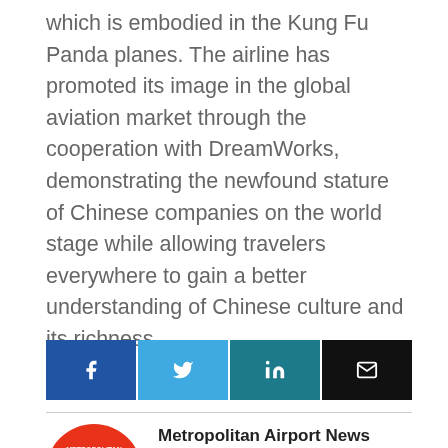which is embodied in the Kung Fu Panda planes. The airline has promoted its image in the global aviation market through the cooperation with DreamWorks, demonstrating the newfound stature of Chinese companies on the world stage while allowing travelers everywhere to gain a better understanding of Chinese culture and its richness.
[Figure (infographic): Four social share buttons in a row: Facebook (blue), Twitter (light blue), LinkedIn (teal), Email (black), each with their respective icons]
[Figure (logo): Metropolitan Airport News circular red logo with white text]
Metropolitan Airport News
Produced by a team of aviation professionals, and enthusiasts our mission is to inform and update the